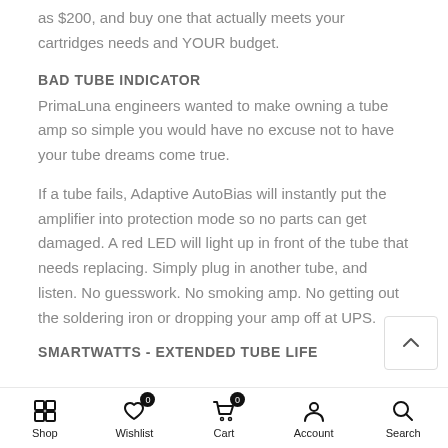as $200, and buy one that actually meets your cartridges needs and YOUR budget.
BAD TUBE INDICATOR
PrimaLuna engineers wanted to make owning a tube amp so simple you would have no excuse not to have your tube dreams come true.
If a tube fails, Adaptive AutoBias will instantly put the amplifier into protection mode so no parts can get damaged. A red LED will light up in front of the tube that needs replacing. Simply plug in another tube, and listen. No guesswork. No smoking amp. No getting out the soldering iron or dropping your amp off at UPS.
SMARTWATTS - EXTENDED TUBE LIFE
Shop  Wishlist  Cart  Account  Search